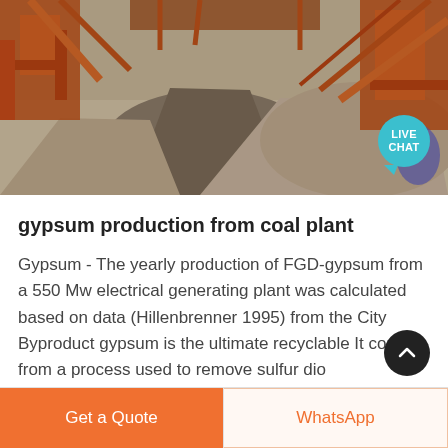[Figure (photo): Aerial view of a mining or quarrying site with large piles of gravel/aggregate materials and orange industrial machinery/conveyor structures. A 'LIVE CHAT' speech bubble button is overlaid in the top-right area of the photo.]
gypsum production from coal plant
Gypsum - The yearly production of FGD-gypsum from a 550 Mw electrical generating plant was calculated based on data (Hillenbrenner 1995) from the City Byproduct gypsum is the ultimate recyclable It comes from a process used to remove sulfur dio...
Get a Quote   WhatsApp